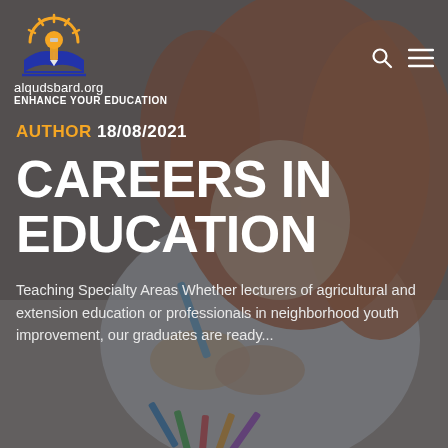[Figure (photo): Background photo of a young girl with red hair writing or drawing, overlaid with dark semi-transparent overlay. Colorful pens/markers visible in foreground.]
[Figure (logo): Education logo: sun with rays in orange/yellow above an open book with a pencil, blue and orange colors, for alqudsbard.org]
alqudsbard.org
ENHANCE YOUR EDUCATION
AUTHOR 18/08/2021
CAREERS IN EDUCATION
Teaching Specialty Areas Whether lecturers of agricultural and extension education or professionals in neighborhood youth improvement, our graduates are ready...